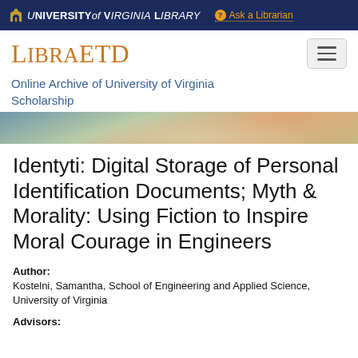University of Virginia Library | Ask a Librarian
LibraETD
Online Archive of University of Virginia Scholarship
[Figure (photo): Hero banner image showing University of Virginia campus scene with trees and architecture]
Identyti: Digital Storage of Personal Identification Documents; Myth & Morality: Using Fiction to Inspire Moral Courage in Engineers
Author:
Kostelni, Samantha, School of Engineering and Applied Science, University of Virginia
Advisors: